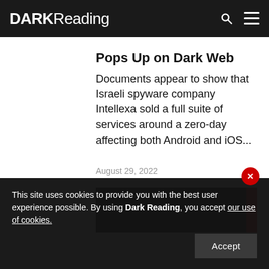DARK Reading
Pops Up on Dark Web
Documents appear to show that Israeli spyware company Intellexa sold a full suite of services around a zero-day affecting both Android and iOS...
August 29, 2022
[Figure (photo): Dark background image with a red accent bar on the right side]
This site uses cookies to provide you with the best user experience possible. By using Dark Reading, you accept our use of cookies.